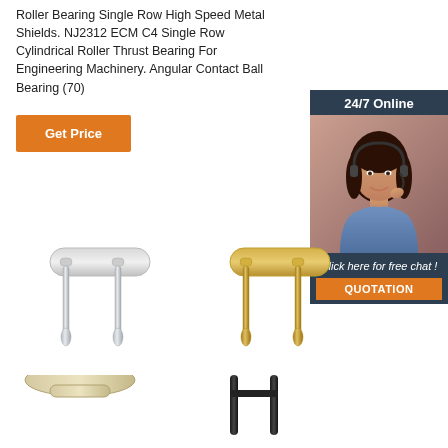Roller Bearing Single Row High Speed Metal Shields. NJ2312 ECM C4 Single Row Cylindrical Roller Thrust Bearing For Engineering Machinery. Angular Contact Ball Bearing (70)
[Figure (other): Orange 'Get Price' button]
[Figure (other): 24/7 Online chat panel with customer service representative photo and QUOTATION button]
[Figure (photo): Silver double door handle hardware product photo]
[Figure (photo): Gold/brass double door handle hardware product photo]
[Figure (photo): Cream/beige door handle hardware product photo (partial, bottom)]
[Figure (photo): Black door handle hardware product photo (partial, bottom)]